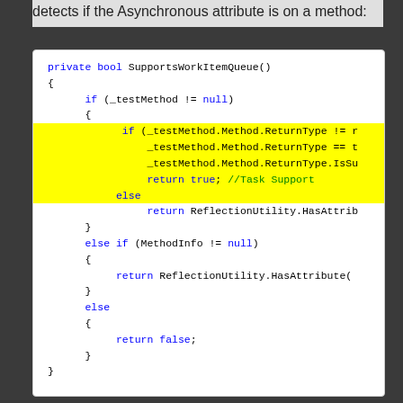detects if the Asynchronous attribute is on a method:
[Figure (screenshot): Code block showing C# method SupportsWorkItemQueue() with highlighted lines checking _testMethod.Method.ReturnType conditions and returning true or using ReflectionUtility.HasAttribute based on conditions.]